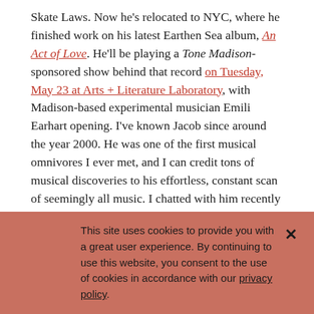Skate Laws. Now he's relocated to NYC, where he finished work on his latest Earthen Sea album, An Act of Love. He'll be playing a Tone Madison-sponsored show behind that record on Tuesday, May 23 at Arts + Literature Laboratory, with Madison-based experimental musician Emili Earhart opening. I've known Jacob since around the year 2000. He was one of the first musical omnivores I ever met, and I can credit tons of musical discoveries to his effortless, constant scan of seemingly all music. I chatted with him recently to ask him a bit about how he makes his records, and records from which he draws inspiration.
[Figure (screenshot): Video thumbnail for Earthen Sea - Exuberant Burning, dark background with a person's face silhouette and white text overlay]
This site uses cookies to provide you with a great user experience. By continuing to use this website, you consent to the use of cookies in accordance with our privacy policy.